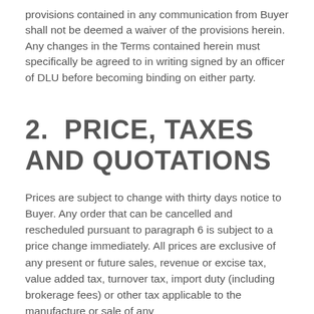provisions contained in any communication from Buyer shall not be deemed a waiver of the provisions herein. Any changes in the Terms contained herein must specifically be agreed to in writing signed by an officer of DLU before becoming binding on either party.
2.  PRICE, TAXES AND QUOTATIONS
Prices are subject to change with thirty days notice to Buyer. Any order that can be cancelled and rescheduled pursuant to paragraph 6 is subject to a price change immediately. All prices are exclusive of any present or future sales, revenue or excise tax, value added tax, turnover tax, import duty (including brokerage fees) or other tax applicable to the manufacture or sale of any